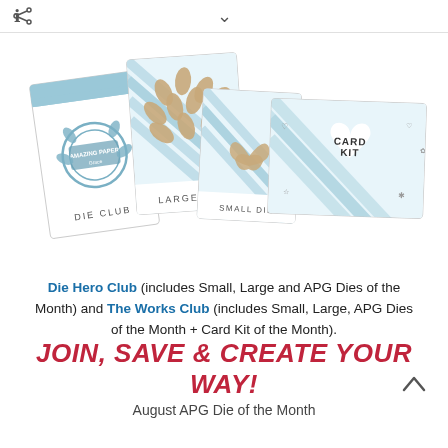[Figure (illustration): Four crafting subscription box cards fanned out: Die Club, Large Die, Small Die, and Card Kit cards with light blue stripe and leaf/butterfly patterns]
Die Hero Club (includes Small, Large and APG Dies of the Month) and The Works Club (includes Small, Large, APG Dies of the Month + Card Kit of the Month).
JOIN, SAVE & CREATE YOUR WAY!
August APG Die of the Month